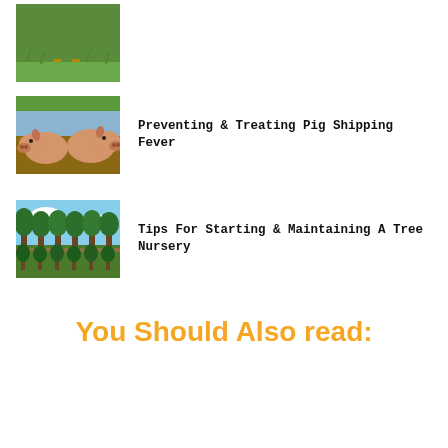[Figure (photo): Partial view of a chicken or turkey on grass, cropped at top]
[Figure (photo): Two pigs standing in mud outdoors]
Preventing & Treating Pig Shipping Fever
[Figure (photo): Rows of young trees in a nursery with blue sky]
Tips For Starting & Maintaining A Tree Nursery
You Should Also read: